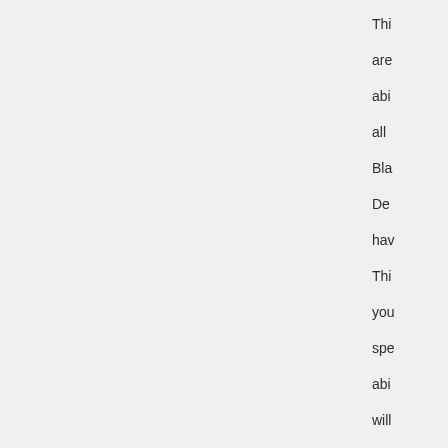Thi are abi all Bla De hav Thi you spe abi will be one tha is not list
My Der Kill Tie Far 201 Pro